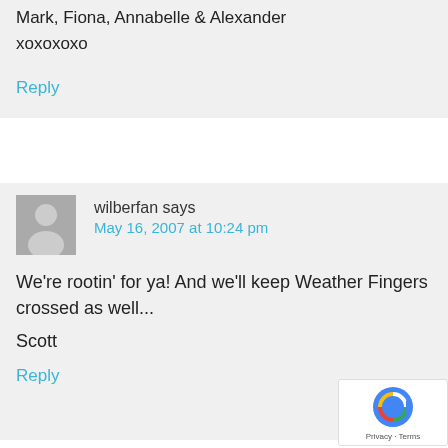Mark, Fiona, Annabelle & Alexander
xoxoxoxo
Reply
wilberfan says
May 16, 2007 at 10:24 pm
We're rootin' for ya! And we'll keep Weather Fingers crossed as well...
Scott
Reply